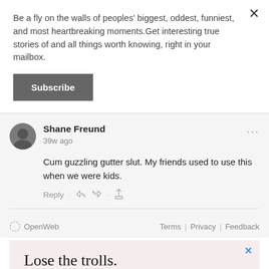Be a fly on the walls of peoples' biggest, oddest, funniest, and most heartbreaking moments.Get interesting true stories of and all things worth knowing, right in your mailbox.
Subscribe
Shane Freund
39w ago
Cum guzzling gutter slut. My friends used to use this when we were kids.
Reply
OpenWeb   Terms | Privacy | Feedback
[Figure (screenshot): Advertisement banner with text 'Lose the trolls. Keep the comments.' on a light pink/cream background]
Lose the trolls.
Keep the comments.